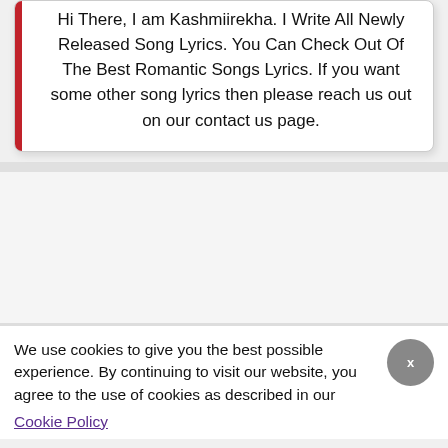Hi There, I am Kashmiirekha. I Write All Newly Released Song Lyrics. You Can Check Out Of The Best Romantic Songs Lyrics. If you want some other song lyrics then please reach us out on our contact us page.
[Figure (other): Advertisement banner area (empty/grey box)]
We use cookies to give you the best possible experience. By continuing to visit our website, you agree to the use of cookies as described in our Cookie Policy